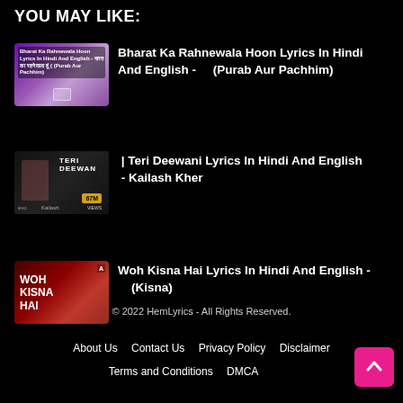YOU MAY LIKE:
Bharat Ka Rahnewala Hoon Lyrics In Hindi And English - (Purab Aur Pachhim)
| Teri Deewani Lyrics In Hindi And English - Kailash Kher
Woh Kisna Hai Lyrics In Hindi And English - (Kisna)
© 2022 HemLyrics - All Rights Reserved. About Us  Contact Us  Privacy Policy  Disclaimer  Terms and Conditions  DMCA